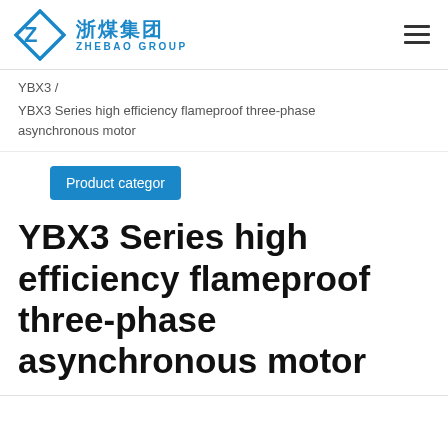[Figure (logo): Zhebao Group logo with diamond-shaped Z icon in blue and Chinese/English brand name]
YBX3 /
YBX3 Series high efficiency flameproof three-phase asynchronous motor
Product categor
YBX3 Series high efficiency flameproof three-phase asynchronous motor